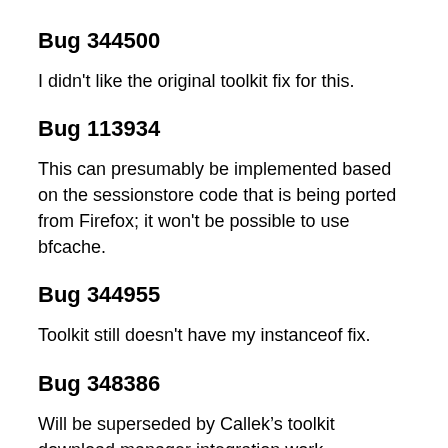Bug 344500
I didn't like the original toolkit fix for this.
Bug 113934
This can presumably be implemented based on the sessionstore code that is being ported from Firefox; it won't be possible to use bfcache.
Bug 344955
Toolkit still doesn't have my instanceof fix.
Bug 348386
Will be superseded by Callek’s toolkit download manager integration work.